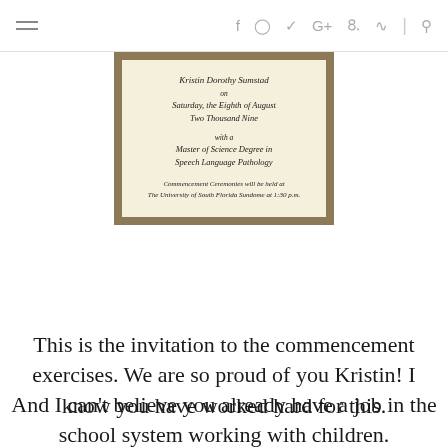≡  f  ⊙  𝕥  G+  𝗽  ≡  |  🔍
[Figure (photo): A formal commencement invitation on cream/ivory paper with a brown border, written in italic script. Text reads: 'Kristin Dorothy Sumstad / on / Saturday, the Eighth of August / Two Thousand Nine / with a / Master of Science Degree in / Speech Language Pathology / Commencement Ceremonies will be held at / The University of South Florida Sundome at 1:30 p.m.']
This is the invitation to the commencement exercises. We are so proud of you Kristin! I know you have worked hard for this.
And I can't believe you already have a job in the school system working with children.